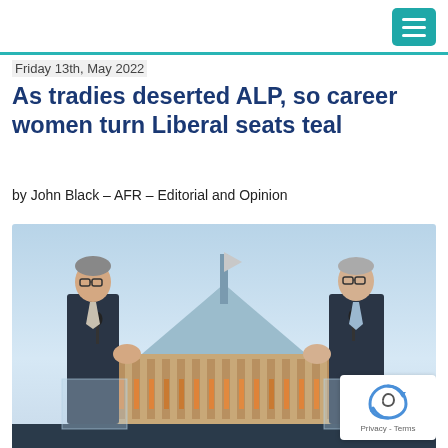Friday 13th, May 2022
As tradies deserted ALP, so career women turn Liberal seats teal
by John Black – AFR – Editorial and Opinion
[Figure (photo): Two men in dark suits standing at clear podiums with microphones, gesturing with open hands toward each other, with Parliament House Canberra visible in the background at dusk.]